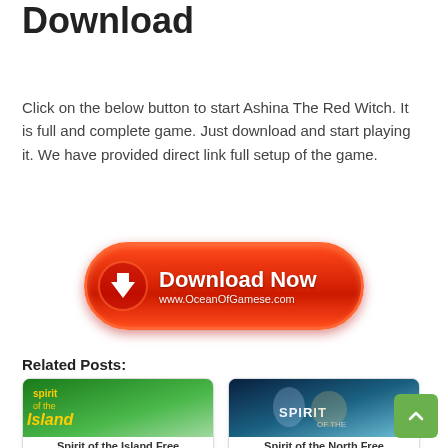Ashina The Red Witch Free Download
Click on the below button to start Ashina The Red Witch. It is full and complete game. Just download and start playing it. We have provided direct link full setup of the game.
[Figure (other): Red Download Now button with arrow icon and www.OceanOfGamese.com text]
Related Posts:
[Figure (illustration): Spirit of the Island game cover thumbnail]
Spirit of the Island Free
[Figure (illustration): Spirit of the North game cover thumbnail]
Spirit of the North Free